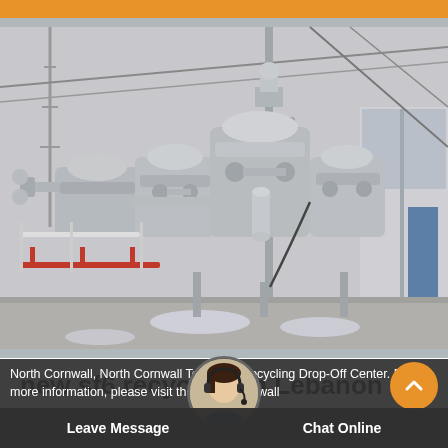[Figure (photo): Outdoor industrial electrical substation equipment — multiple large grey SF6 gas-insulated switchgear units with pipes, cables, and supporting structures; overcast sky background; red barriers visible at lower left; blue element at right edge.]
new sf6 recycling in Lebanon
North Cornwall, North Cornwall Township Recycling Drop-Off Center. For more information, please visit the North Cornwall
Leave Message    Chat Online